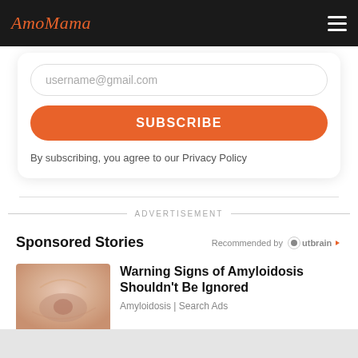AmoMama
username@gmail.com
SUBSCRIBE
By subscribing, you agree to our Privacy Policy
ADVERTISEMENT
Sponsored Stories
Recommended by Outbrain
[Figure (photo): Close-up skin photo thumbnail for amyloidosis article]
Warning Signs of Amyloidosis Shouldn't Be Ignored
Amyloidosis | Search Ads